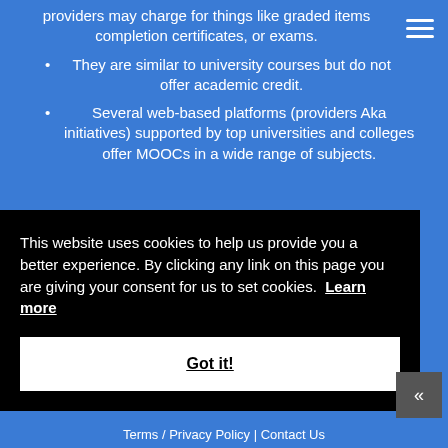providers may charge for things like graded items completion certificates, or exams.
They are similar to university courses but do not offer academic credit.
Several web-based platforms (providers Aka initiatives) supported by top universities and colleges offer MOOCs in a wide range of subjects.
This website uses cookies to help us provide you a better experience. By clicking any link on this page you are giving your consent for us to set cookies. Learn more
Got it!
Terms / Privacy Policy | Contact Us